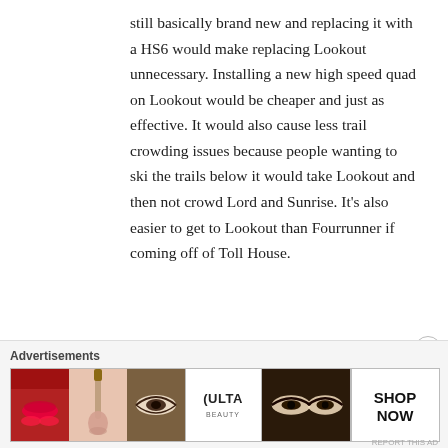still basically brand new and replacing it with a HS6 would make replacing Lookout unnecessary. Installing a new high speed quad on Lookout would be cheaper and just as effective. It would also cause less trail crowding issues because people wanting to ski the trails below it would take Lookout and then not crowd Lord and Sunrise. It's also easier to get to Lookout than Fourrunner if coming off of Toll House.
Like
Reply
[Figure (other): Advertisement banner showing Ulta Beauty cosmetics ad with makeup imagery and SHOP NOW call to action]